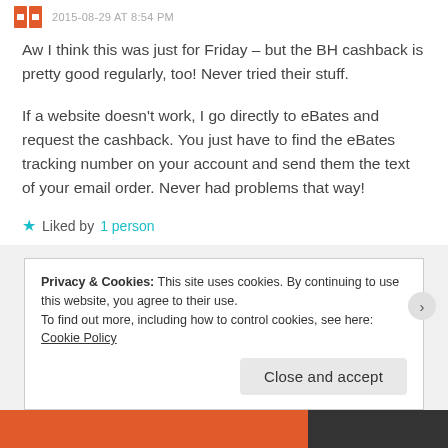2015-08-29 AT 8:54 PM
Aw I think this was just for Friday – but the BH cashback is pretty good regularly, too! Never tried their stuff.

If a website doesn't work, I go directly to eBates and request the cashback. You just have to find the eBates tracking number on your account and send them the text of your email order. Never had problems that way!
★ Liked by 1 person
Privacy & Cookies: This site uses cookies. By continuing to use this website, you agree to their use.
To find out more, including how to control cookies, see here: Cookie Policy
Close and accept